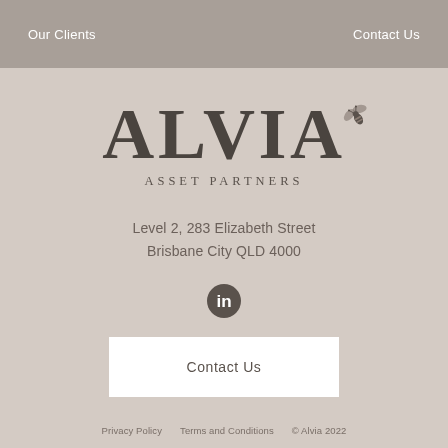Our Clients   Contact Us
[Figure (logo): ALVIA Asset Partners logo with bee icon]
Level 2, 283 Elizabeth Street
Brisbane City QLD 4000
[Figure (logo): LinkedIn icon circle]
Contact Us
Privacy Policy   Terms and Conditions   © Alvia 2022